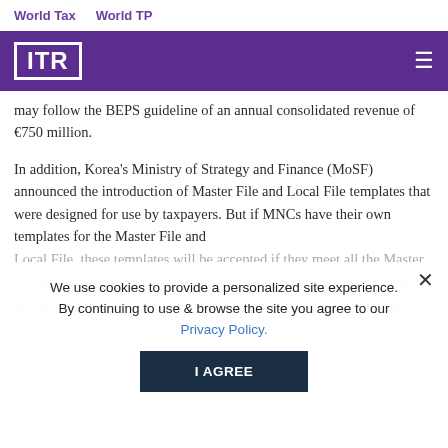World Tax    World TP
[Figure (logo): ITR logo in white on purple header bar with hamburger menu icon]
may follow the BEPS guideline of an annual consolidated revenue of €750 million.
In addition, Korea's Ministry of Strategy and Finance (MoSF) announced the introduction of Master File and Local File templates that were designed for use by taxpayers. But if MNCs have their own templates for the Master File and
Local File, these templates will be accepted if they meet all the Master File and Local File requirements. Once the template has been published and accepted by the IRAS, it can be renewed annually, with exception of certain parts such as economic analysis
We use cookies to provide a personalized site experience. By continuing to use & browse the site you agree to our Privacy Policy.
I AGREE
The Korean regulations require the Master File and/or Local File for fiscal years beginning on or after January 1st 2016. The submission of the Master File and/or Local Files must be